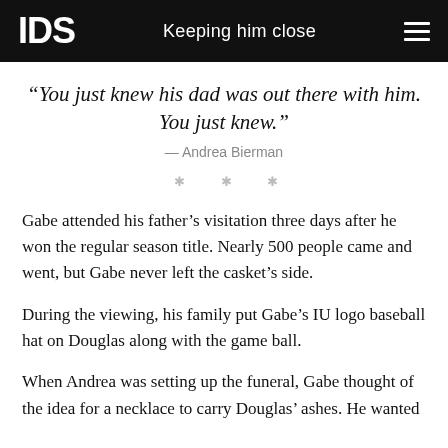IDS   Keeping him close
“You just knew his dad was out there with him. You just knew.” — Andrea Bierman
* * *
Gabe attended his father’s visitation three days after he won the regular season title. Nearly 500 people came and went, but Gabe never left the casket’s side.
During the viewing, his family put Gabe’s IU logo baseball hat on Douglas along with the game ball.
When Andrea was setting up the funeral, Gabe thought of the idea for a necklace to carry Douglas’ ashes. He wanted